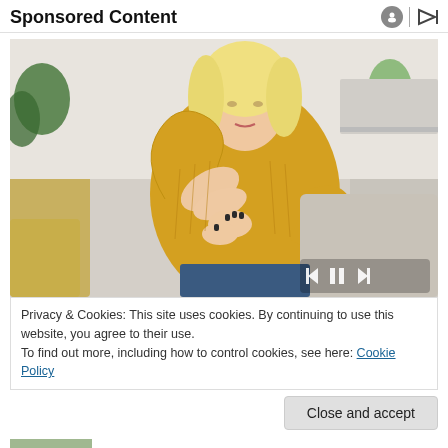Sponsored Content
[Figure (photo): Woman in yellow sweater sitting on a couch, looking at her elbow/forearm, with media playback controls (skip-back, pause, skip-forward) overlaid at bottom right. Background shows a living room with sofa and plants.]
Privacy & Cookies: This site uses cookies. By continuing to use this website, you agree to their use.
To find out more, including how to control cookies, see here: Cookie Policy
Close and accept
[Figure (photo): Partial thumbnail image at the bottom left, showing a close-up of a hand or skin. Next to it, partial text reading 'PsO Skin' in bold.]